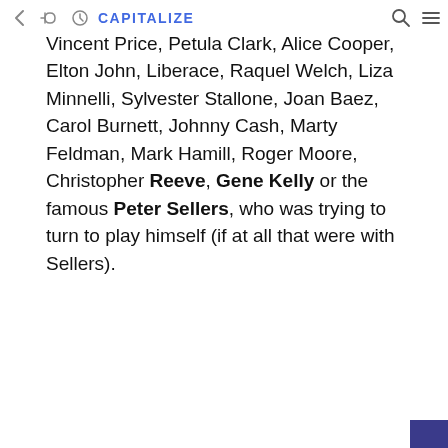Martin, among many others, passed by: Vincent Price, Petula Clark, Alice Cooper, Elton John, Liberace, Raquel Welch, Liza Minnelli, Sylvester Stallone, Joan Baez, Carol Burnett, Johnny Cash, Marty Feldman, Mark Hamill, Roger Moore, Christopher Reeve, Gene Kelly or the famous Peter Sellers, who was trying to turn to play himself (if at all that were with Sellers).